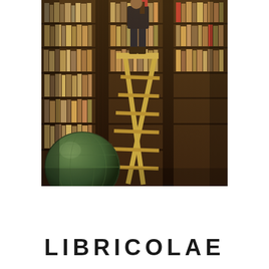[Figure (illustration): A classical oil painting of a person standing on a tall wooden ladder in a large library, reaching for books on high shelves. The shelves are densely packed with books. A globe is visible in the lower left foreground. The painting has warm, dark brown tones.]
LIBRICOLAE